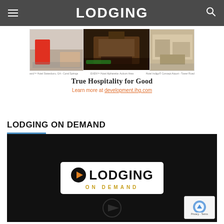LODGING
[Figure (photo): IHG hotel advertisement showing hotel lobby and exterior images with tagline 'True Hospitality for Good' and link to development.ihg.com]
True Hospitality for Good
Learn more at development.ihg.com
LODGING ON DEMAND
[Figure (screenshot): Lodging On Demand video thumbnail with white logo box on dark background showing play button icon with LODGING wordmark and ON DEMAND subtitle in gold letters]